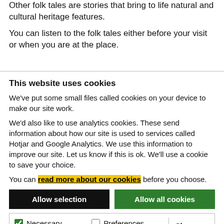Other folk tales are stories that bring to life natural and cultural heritage features.
You can listen to the folk tales either before your visit or when you are at the place.
This website uses cookies
We've put some small files called cookies on your device to make our site work.
We'd also like to use analytics cookies. These send information about how our site is used to services called Hotjar and Google Analytics. We use this information to improve our site. Let us know if this is ok. We'll use a cookie to save your choice.
You can read more about our cookies before you choose.
Allow selection
Allow all cookies
Necessary  Preferences  Statistics  Marketing  Show details